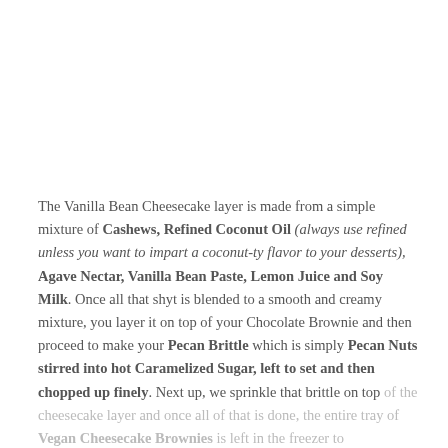The Vanilla Bean Cheesecake layer is made from a simple mixture of Cashews, Refined Coconut Oil (always use refined unless you want to impart a coconut-ty flavor to your desserts), Agave Nectar, Vanilla Bean Paste, Lemon Juice and Soy Milk. Once all that shyt is blended to a smooth and creamy mixture, you layer it on top of your Chocolate Brownie and then proceed to make your Pecan Brittle which is simply Pecan Nuts stirred into hot Caramelized Sugar, left to set and then chopped up finely. Next up, we sprinkle that brittle on top of the cheesecake layer and once all of that is done, the entire tray of Vegan Cheesecake Brownies is left in the freezer to